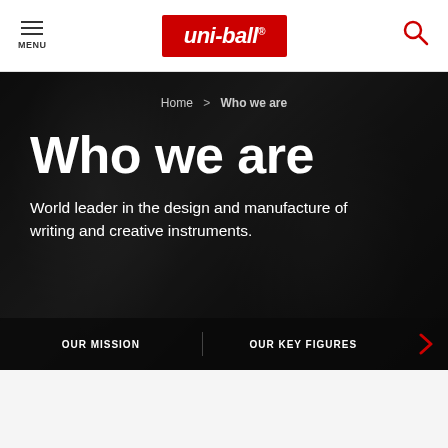MENU | uni-ball | search
Home > Who we are
Who we are
World leader in the design and manufacture of writing and creative instruments.
OUR MISSION | OUR KEY FIGURES